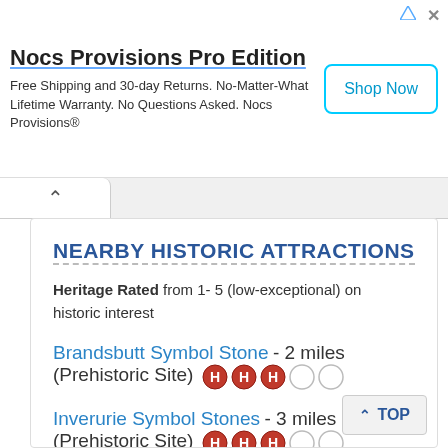[Figure (infographic): Advertisement banner for Nocs Provisions Pro Edition with Shop Now button]
NEARBY HISTORIC ATTRACTIONS
Heritage Rated from 1- 5 (low-exceptional) on historic interest
Brandsbutt Symbol Stone - 2 miles (Prehistoric Site) ⓗⓗⓗ○○
Inverurie Symbol Stones - 3 miles (Prehistoric Site) ⓗⓗⓗ○○